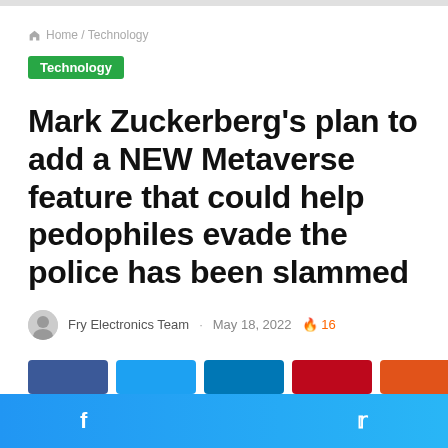Home / Technology
Technology
Mark Zuckerberg's plan to add a NEW Metaverse feature that could help pedophiles evade the police has been slammed
Fry Electronics Team · May 18, 2022 🔥 16